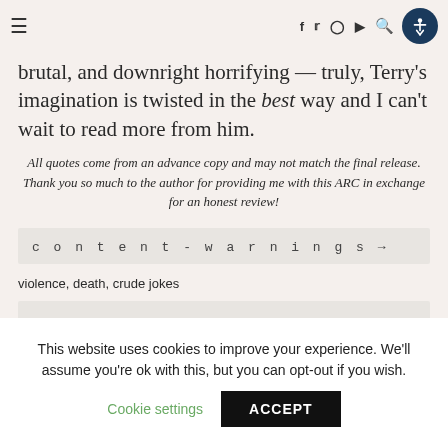Navigation bar with hamburger menu, social icons (f, twitter, instagram, youtube), search, and accessibility button
brutal, and downright horrifying — truly, Terry's imagination is twisted in the best way and I can't wait to read more from him.
All quotes come from an advance copy and may not match the final release. Thank you so much to the author for providing me with this ARC in exchange for an honest review!
content-warnings→
violence, death, crude jokes
This website uses cookies to improve your experience. We'll assume you're ok with this, but you can opt-out if you wish.
Cookie settings    ACCEPT